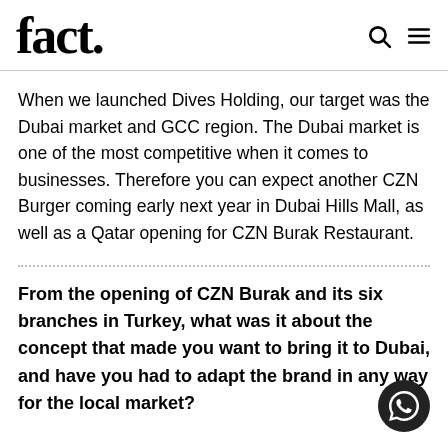fact.
When we launched Dives Holding, our target was the Dubai market and GCC region. The Dubai market is one of the most competitive when it comes to businesses. Therefore you can expect another CZN Burger coming early next year in Dubai Hills Mall, as well as a Qatar opening for CZN Burak Restaurant.
From the opening of CZN Burak and its six branches in Turkey, what was it about the concept that made you want to bring it to Dubai, and have you had to adapt the brand in any way for the local market?